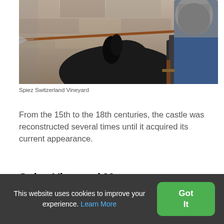[Figure (photo): A black horse's head with a spear/lance passing behind it, and a person in chainmail armor visible to the right, against a stone wall background. Spiez Switzerland Vineyard scene.]
Spiez Switzerland Vineyard
From the 15th to the 18th centuries, the castle was reconstructed several times until it acquired its current appearance.
Spiez Vineyard Map
This website uses cookies to improve your experience. Learn More
Got It